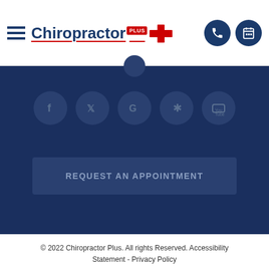[Figure (logo): Chiropractor Plus logo with hamburger menu icon and two header icon buttons (phone and calendar) on the right]
[Figure (infographic): Dark navy blue section with social media icon circles (Facebook, Twitter, Google, Yelp, YouTube) and a 'REQUEST AN APPOINTMENT' button]
© 2022 Chiropractor Plus. All rights Reserved. Accessibility Statement - Privacy Policy
Powered by: roya.com